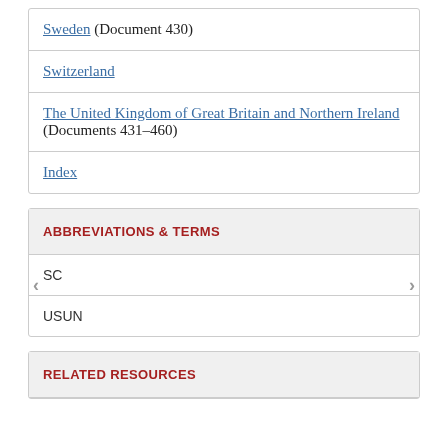Sweden (Document 430)
Switzerland
The United Kingdom of Great Britain and Northern Ireland (Documents 431-460)
Index
ABBREVIATIONS & TERMS
SC
USUN
RELATED RESOURCES